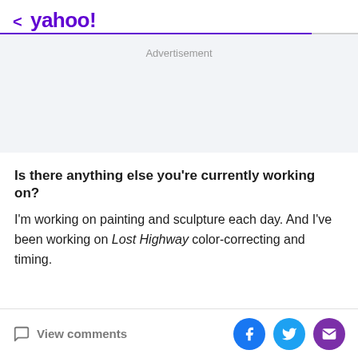< yahoo!
Advertisement
Is there anything else you're currently working on?
I'm working on painting and sculpture each day. And I've been working on Lost Highway color-correcting and timing.
View comments